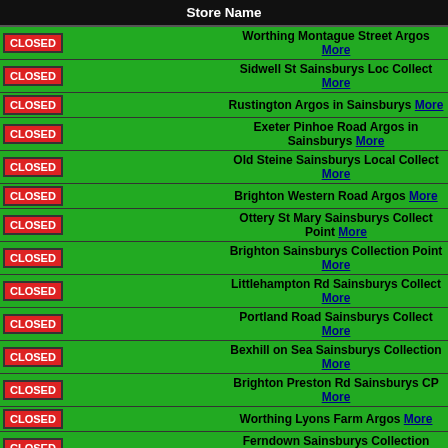| Store Name |
| --- |
| CLOSED | Worthing Montague Street Argos More |
| CLOSED | Sidwell St Sainsburys Loc Collect More |
| CLOSED | Rustington Argos in Sainsburys More |
| CLOSED | Exeter Pinhoe Road Argos in Sainsburys More |
| CLOSED | Old Steine Sainsburys Local Collect More |
| CLOSED | Brighton Western Road Argos More |
| CLOSED | Ottery St Mary Sainsburys Collect Point More |
| CLOSED | Brighton Sainsburys Collection Point More |
| CLOSED | Littlehampton Rd Sainsburys Collect More |
| CLOSED | Portland Road Sainsburys Collect More |
| CLOSED | Bexhill on Sea Sainsburys Collection More |
| CLOSED | Brighton Preston Rd Sainsburys CP More |
| CLOSED | Worthing Lyons Farm Argos More |
| CLOSED | Ferndown Sainsburys Collection Point More |
| CLOSED | Lewes Road Argos in Sainsburys More |
| CLOSED | Downland BusinessPark Sainsburys Collect More |
| CLOSED | West Hove Argos In Sainsburys More |
| CLOSED | Chichester Argos in Sainsburys More |
| CLOSED | Farlington Argos in Sainsburys More |
| CLOSED | Hastings Argos More |
| CLOSED | Havant Argos More |